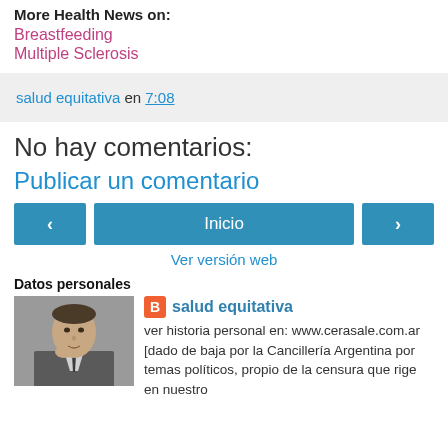More Health News on:
Breastfeeding
Multiple Sclerosis
salud equitativa en 7:08
No hay comentarios:
Publicar un comentario
‹  Inicio  ›
Ver versión web
Datos personales
salud equitativa
ver historia personal en: www.cerasale.com.ar [dado de baja por la Cancillería Argentina por temas políticos, propio de la censura que rige en nuestro